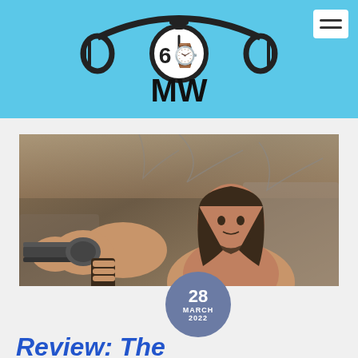[Figure (logo): 60 Minutes With (60MW) podcast logo with headphones and stopwatch on light blue background]
[Figure (photo): A shirtless man with long hair and beard pointing a revolver at the camera, in a rocky outdoor setting. Date badge overlay reads '28 MARCH 2022'.]
Review: The
Send 60MW a voicemail